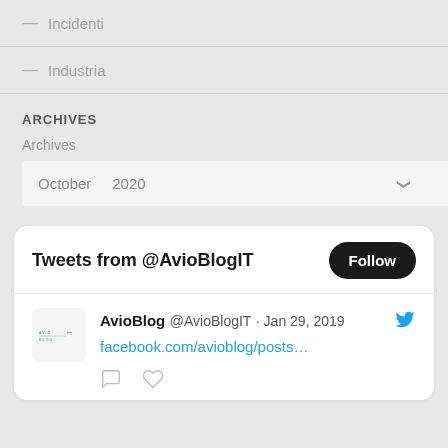— Incidenti
— Industria
ARCHIVES
Archives
October   2020
[Figure (screenshot): Twitter widget showing 'Tweets from @AvioBlogIT' with a Follow button, and a tweet from AvioBlog @AvioBlogIT dated Jan 29, 2019 with link facebook.com/avioblog/posts...]